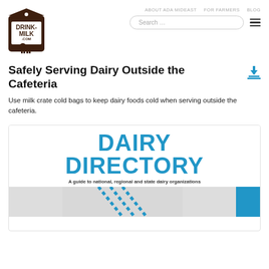ABOUT ADA MIDEAST   FOR FARMERS   BLOG
[Figure (logo): Drink-Milk.com logo: brown milk carton with cow silhouette]
Safely Serving Dairy Outside the Cafeteria
Use milk crate cold bags to keep dairy foods cold when serving outside the cafeteria.
[Figure (screenshot): Dairy Directory cover preview showing large blue bold text 'DAIRY DIRECTORY' and subtitle 'A guide to national, regional and state dairy organizations' with partial image of milk cartons below]